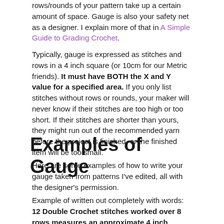rows/rounds of your pattern take up a certain amount of space. Gauge is also your safety net as a designer. I explain more of that in A Simple Guide to Grading Crochet.
Typically, gauge is expressed as stitches and rows in a 4 inch square (or 10cm for our Metric friends). It must have BOTH the X and Y value for a specified area. If you only list stitches without rows or rounds, your maker will never know if their stitches are too high or too short. If their stitches are shorter than yours, they might run out of the recommended yarn before the project is finished, or the finished item will be too small.
Examples of Gauge
Here are some examples of how to write your gauge taken from patterns I've edited, all with the designer's permission.
Example of written out completely with words: 12 Double Crochet stitches worked over 8 rows measures an approximate 4 inch square using a size 5.0mm crochet